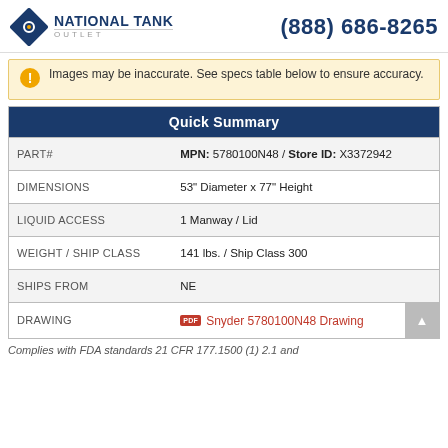National Tank Outlet | (888) 686-8265
Images may be inaccurate. See specs table below to ensure accuracy.
| Quick Summary |  |
| --- | --- |
| PART# | MPN: 5780100N48 / Store ID: X3372942 |
| DIMENSIONS | 53" Diameter x 77" Height |
| LIQUID ACCESS | 1 Manway / Lid |
| WEIGHT / SHIP CLASS | 141 lbs. / Ship Class 300 |
| SHIPS FROM | NE |
| DRAWING | Snyder 5780100N48 Drawing |
Complies with FDA standards 21 CFR 177.1500 (1) 2.1 and